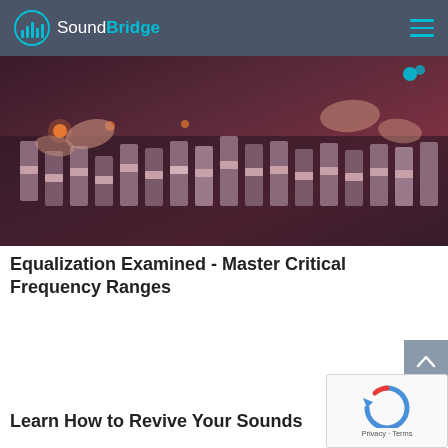SoundBridge
[Figure (photo): Close-up of hands working on a mixing board/audio console with faders and knobs in warm reddish-purple lighting]
Equalization Examined - Master Critical Frequency Ranges
Learn How to Revive Your Sounds